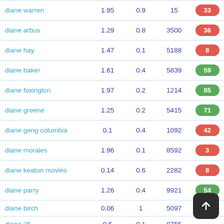| name | col1 | col2 | col3 | score |
| --- | --- | --- | --- | --- |
| diane warren | 1.95 | 0.9 | 15 | 33 |
| diane arbus | 1.29 | 0.8 | 3500 | 36 |
| diane hay | 1.47 | 0.1 | 5188 | 8 |
| diane baker | 1.61 | 0.4 | 5839 | 59 |
| diane foxington | 1.97 | 0.2 | 1214 | 85 |
| diane greene | 1.25 | 0.2 | 5415 | 71 |
| diane geng columbia | 0.1 | 0.4 | 1092 | 42 |
| diane morales | 1.96 | 0.1 | 8592 | 3 |
| diane keaton movies | 0.14 | 0.6 | 2282 | 8 |
| diane parry | 1.26 | 0.4 | 9921 | 54 |
| diane birch | 0.06 | 1 | 5097 |  |
| diane 35 | 0.5 | 0.1 | 8755 |  |